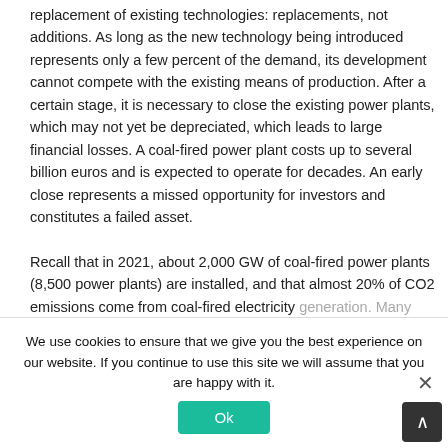replacement of existing technologies: replacements, not additions. As long as the new technology being introduced represents only a few percent of the demand, its development cannot compete with the existing means of production. After a certain stage, it is necessary to close the existing power plants, which may not yet be depreciated, which leads to large financial losses. A coal-fired power plant costs up to several billion euros and is expected to operate for decades. An early close represents a missed opportunity for investors and constitutes a failed asset.
Recall that in 2021, about 2,000 GW of coal-fired power plants (8,500 power plants) are installed, and that almost 20% of CO2 emissions come from coal-fired electricity generation. Many countries have announced that they will no longer build coal plants and that the number of plants abroad, and the number being retired or under construction has dropped significantly in recent years. About 500 GW are still planned early 2021. Many power plants are newly built, under construction, and the...
We use cookies to ensure that we give you the best experience on our website. If you continue to use this site we will assume that you are happy with it.